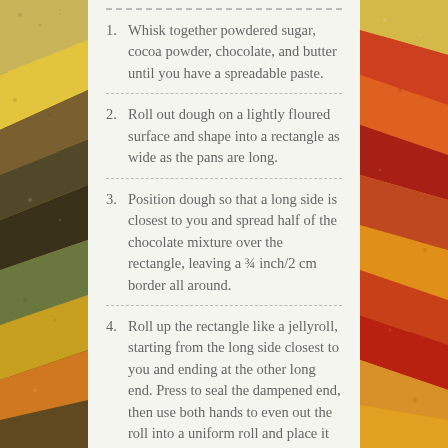[Figure (photo): Left side decorative strip showing various colorful spices and herbs arranged in diagonal sections — turmeric, coriander seeds, black pepper, cardamom, etc.]
[Figure (photo): Right side decorative strip showing various colorful spices and herbs arranged in diagonal sections — red chili powder, saffron, paprika, cumin, turmeric, etc.]
Whisk together powdered sugar, cocoa powder, chocolate, and butter until you have a spreadable paste.
Roll out dough on a lightly floured surface and shape into a rectangle as wide as the pans are long.
Position dough so that a long side is closest to you and spread half of the chocolate mixture over the rectangle, leaving a ¾ inch/2 cm border all around.
Roll up the rectangle like a jellyroll, starting from the long side closest to you and ending at the other long end. Press to seal the dampened end, then use both hands to even out the roll into a uniform roll and place it on your